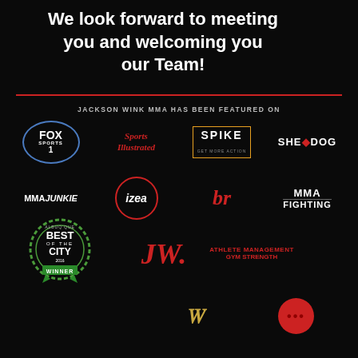We look forward to meeting you and welcoming you our Team!
JACKSON WINK MMA HAS BEEN FEATURED ON
[Figure (logo): Fox Sports 1 logo, Sports Illustrated logo, Spike TV logo, Sherdog logo, MMA Junkie logo, Izea logo, Bleacher Report br logo, MMA Fighting logo, Best of the City Winner badge, JW logo, Athlete Management logo, W gold logo, red dots logo]